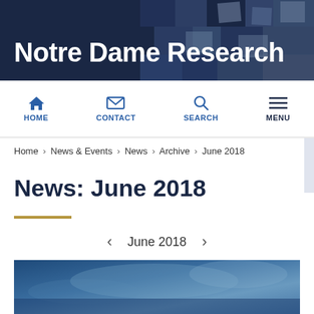Notre Dame Research
HOME  CONTACT  SEARCH  MENU
Home › News & Events › News › Archive › June 2018
News: June 2018
‹ June 2018 ›
[Figure (photo): Blue-toned photograph at the bottom of the page]